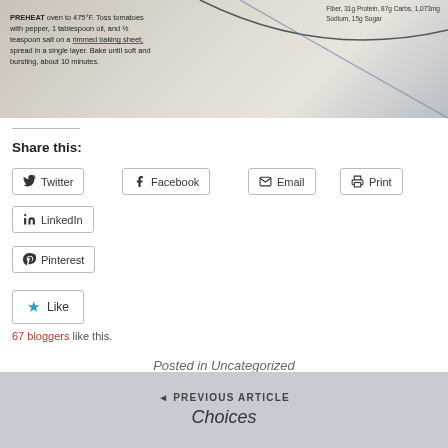[Figure (photo): Partial photo of a printed recipe page showing roasted tomato instructions and nutrition info, with a curved blue line overlay on a light background]
PREHEAT oven to 475°F. Toss tomatoes with pepper, 1 tablespoon oil, and ½ teaspoon salt on a rimmed baking sheet; spread in a single layer. Bake until soft and bursting, about 10 minutes.
Fiber, 31g Protein, 87g Carbs, 1,073mg Sodium, 15g Sugar
Share this:
Twitter
Facebook
Email
Print
LinkedIn
Pinterest
Like
67 bloggers like this.
Posted in Uncategorized
PREVIOUS ARTICLE
Choices